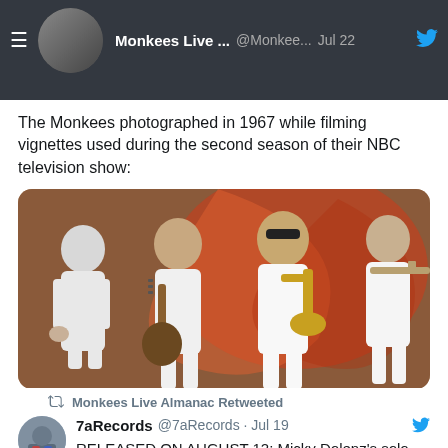Monkees Live ... @Monkee... Jul 22
The Monkees photographed in 1967 while filming vignettes used during the second season of their NBC television show:
[Figure (photo): Black and white photo of The Monkees playing instruments in white outfits against a swirling background]
2  174
Monkees Live Almanac Retweeted
7aRecords @7aRecords · Jul 19
RELEASED ON AUGUST 12: Micky Dolenz's solo album "Demoiselle". Available on CD & Vinyl. The CD comes with a 32 page booklet,